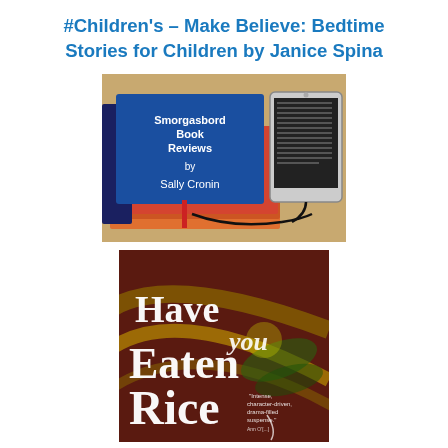#Children's – Make Believe: Bedtime Stories for Children by Janice Spina
[Figure (photo): Book review image showing a stack of books with a blue 'Smorgasbord Book Reviews by Sally Cronin' cover and a tablet/e-reader on a wooden table]
[Figure (photo): Book cover for 'Have You Eaten Rice?' with decorative text on a dark red, gold and green tropical background, with a quote reading 'Intense, character-driven, drama-filled suspense.']